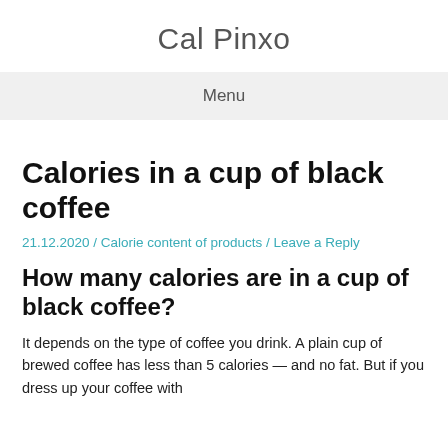Cal Pinxo
Menu
Calories in a cup of black coffee
21.12.2020 / Calorie content of products / Leave a Reply
How many calories are in a cup of black coffee?
It depends on the type of coffee you drink. A plain cup of brewed coffee has less than 5 calories — and no fat. But if you dress up your coffee with